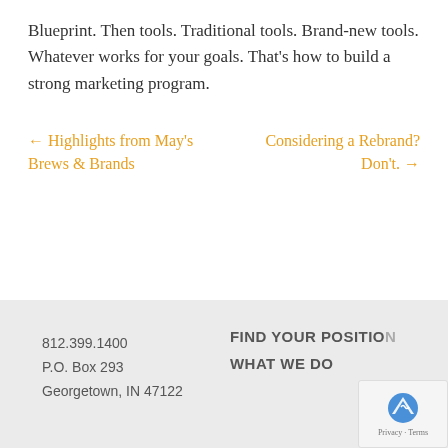Blueprint. Then tools. Traditional tools. Brand-new tools. Whatever works for your goals. That's how to build a strong marketing program.
← Highlights from May's Brews & Brands
Considering a Rebrand? Don't. →
812.399.1400
P.O. Box 293
Georgetown, IN 47122
FIND YOUR POSITION
WHAT WE DO